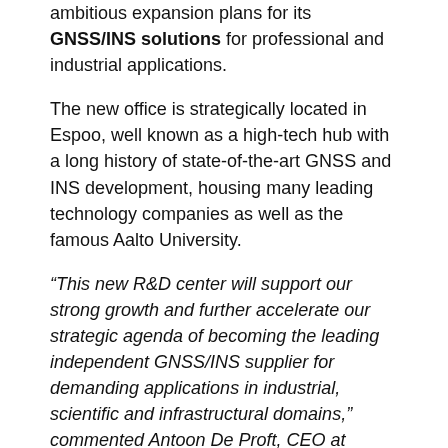ambitious expansion plans for its GNSS/INS solutions for professional and industrial applications.
The new office is strategically located in Espoo, well known as a high-tech hub with a long history of state-of-the-art GNSS and INS development, housing many leading technology companies as well as the famous Aalto University.
“This new R&D center will support our strong growth and further accelerate our strategic agenda of becoming the leading independent GNSS/INS supplier for demanding applications in industrial, scientific and infrastructural domains,” commented Antoon De Proft, CEO at Septentrio. “We also welcome Stefan Söderholm, who brings a wealth of experience to our team and will lead the new R&D center in Finland.”